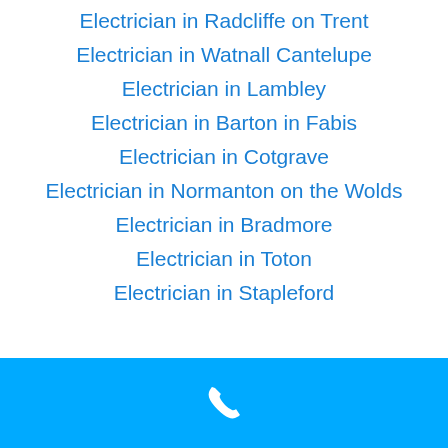Electrician in Radcliffe on Trent
Electrician in Watnall Cantelupe
Electrician in Lambley
Electrician in Barton in Fabis
Electrician in Cotgrave
Electrician in Normanton on the Wolds
Electrician in Bradmore
Electrician in Toton
Electrician in Stapleford
[Figure (other): Blue footer bar with white telephone handset icon]